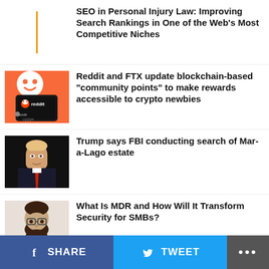SEO in Personal Injury Law: Improving Search Rankings in One of the Web's Most Competitive Niches
[Figure (photo): Reddit app logo on phone screen with mascot]
Reddit and FTX update blockchain-based “community points” to make rewards accessible to crypto newbies
[Figure (photo): Donald Trump at podium with red tie]
Trump says FBI conducting search of Mar-a-Lago estate
[Figure (photo): Man with beard and glasses headshot]
What Is MDR and How Will It Transform Security for SMBs?
[Figure (logo): Partial red logo at bottom]
Make the Jump – It’s an Experience of a
SHARE   TWEET   ...